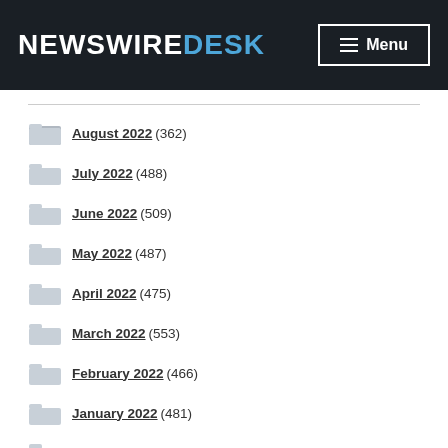NewswireDesk — Menu
August 2022 (362)
July 2022 (488)
June 2022 (509)
May 2022 (487)
April 2022 (475)
March 2022 (553)
February 2022 (466)
January 2022 (481)
December 2021 (500)
November 2021 (714)